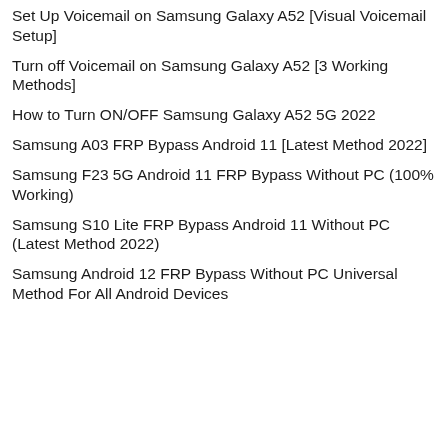Set Up Voicemail on Samsung Galaxy A52 [Visual Voicemail Setup]
Turn off Voicemail on Samsung Galaxy A52 [3 Working Methods]
How to Turn ON/OFF Samsung Galaxy A52 5G 2022
Samsung A03 FRP Bypass Android 11 [Latest Method 2022]
Samsung F23 5G Android 11 FRP Bypass Without PC (100% Working)
Samsung S10 Lite FRP Bypass Android 11 Without PC (Latest Method 2022)
Samsung Android 12 FRP Bypass Without PC Universal Method For All Android Devices